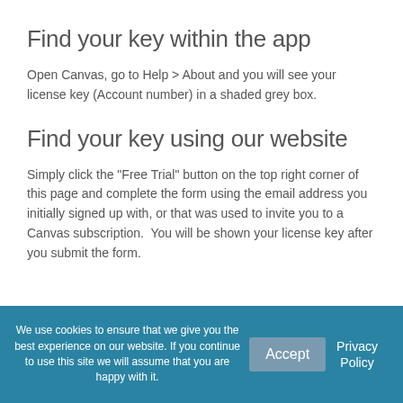Find your key within the app
Open Canvas, go to Help > About and you will see your license key (Account number) in a shaded grey box.
Find your key using our website
Simply click the "Free Trial" button on the top right corner of this page and complete the form using the email address you initially signed up with, or that was used to invite you to a Canvas subscription.  You will be shown your license key after you submit the form.
We use cookies to ensure that we give you the best experience on our website. If you continue to use this site we will assume that you are happy with it.